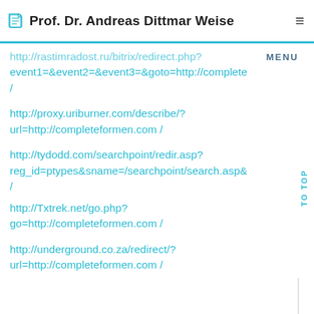Prof. Dr. Andreas Dittmar Weise
http://rastimradost.ru/bitrix/redirect.php?event1=&event2=&event3=&goto=http://complete/
http://proxy.uriburner.com/describe/?url=http://completeformen.com /
http://tydodd.com/searchpoint/redir.asp?reg_id=ptypes&sname=/searchpoint/search.asp&/
http://Txtrek.net/go.php?go=http://completeformen.com /
http://underground.co.za/redirect/?url=http://completeformen.com /